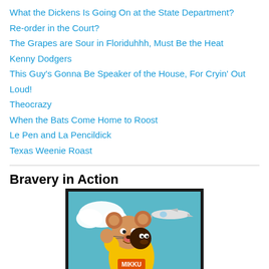What the Dickens Is Going On at the State Department?
Re-order in the Court?
The Grapes are Sour in Floriduhhh, Must Be the Heat
Kenny Dodgers
This Guy's Gonna Be Speaker of the House, For Cryin' Out Loud!
Theocrazy
When the Bats Come Home to Roost
Le Pen and La Pencildick
Texas Weenie Roast
Bravery in Action
[Figure (illustration): Cartoon illustration of a superhero mouse character wearing a yellow costume labeled MIKKU with a dark-faced human figure on its back, set against a blue sky with a small airplane in the background.]